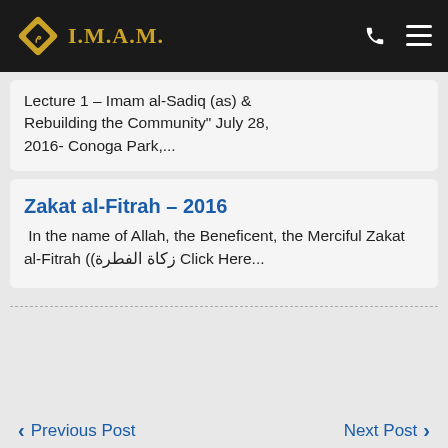I.M.A.M.
Lecture 1 – Imam al-Sadiq (as) & Rebuilding the Community" July 28, 2016- Conoga Park,...
Zakat al-Fitrah – 2016
In the name of Allah, the Beneficent, the Merciful Zakat al-Fitrah ((زكاة الفطرة Click Here...
Previous Post   Next Post